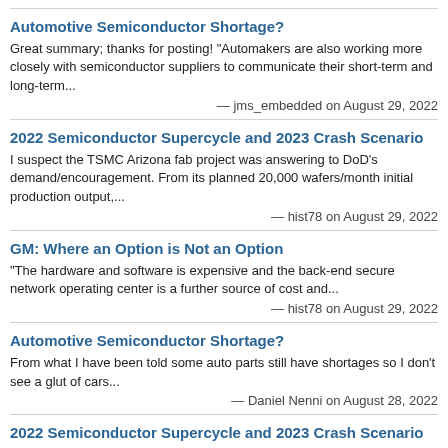Automotive Semiconductor Shortage?
Great summary; thanks for posting! "Automakers are also working more closely with semiconductor suppliers to communicate their short-term and long-term...
— jms_embedded on August 29, 2022
2022 Semiconductor Supercycle and 2023 Crash Scenario
I suspect the TSMC Arizona fab project was answering to DoD's demand/encouragement. From its planned 20,000 wafers/month initial production output,...
— hist78 on August 29, 2022
GM: Where an Option is Not an Option
"The hardware and software is expensive and the back-end secure network operating center is a further source of cost and...
— hist78 on August 29, 2022
Automotive Semiconductor Shortage?
From what I have been told some auto parts still have shortages so I don't see a glut of cars...
— Daniel Nenni on August 28, 2022
2022 Semiconductor Supercycle and 2023 Crash Scenario
Thanks for the detail on TSMC. They have another vital advantage in case of price cuts. Their yields are much...
— Fred Stein on August 28, 2022